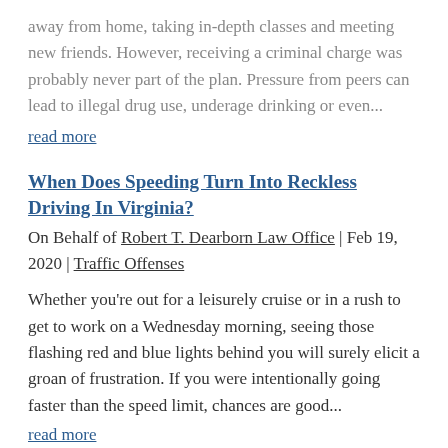away from home, taking in-depth classes and meeting new friends. However, receiving a criminal charge was probably never part of the plan. Pressure from peers can lead to illegal drug use, underage drinking or even...
read more
When Does Speeding Turn Into Reckless Driving In Virginia?
On Behalf of Robert T. Dearborn Law Office | Feb 19, 2020 | Traffic Offenses
Whether you're out for a leisurely cruise or in a rush to get to work on a Wednesday morning, seeing those flashing red and blue lights behind you will surely elicit a groan of frustration. If you were intentionally going faster than the speed limit, chances are good...
read more